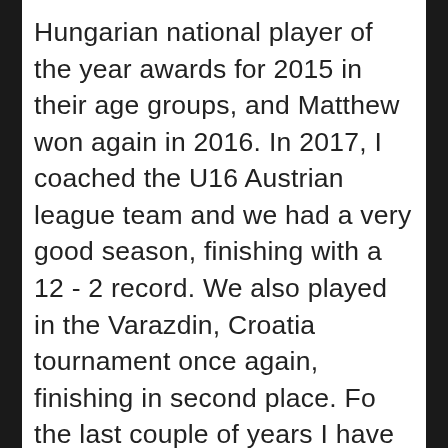Hungarian national player of the year awards for 2015 in their age groups, and Matthew won again in 2016.  In 2017, I coached the U16 Austrian league team and we had a very good season, finishing with a 12 - 2 record.  We also played in the Varazdin, Croatia tournament once again, finishing in second place.  Fo the last couple of years I have coached in the men's NB1 league.  NB1 is the top league in Hungary.  In 2020, our team finished in third place.  In 2021, we finished in second